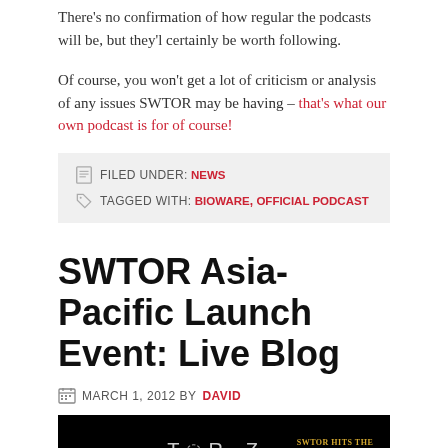There's no confirmation of how regular the podcasts will be, but they'l certainly be worth following.
Of course, you won't get a lot of criticism or analysis of any issues SWTOR may be having – that's what our own podcast is for of course!
FILED UNDER: NEWS   TAGGED WITH: BIOWARE, OFFICIAL PODCAST
SWTOR Asia-Pacific Launch Event: Live Blog
MARCH 1, 2012 BY DAVID
[Figure (photo): SWTOR Toroz Live Blog banner image showing Star Wars: The Old Republic logo, TOROZ logo, Live Blog text, and 'SWTOR Hits the Shores of Australia & New Zealand!!' text on black background]